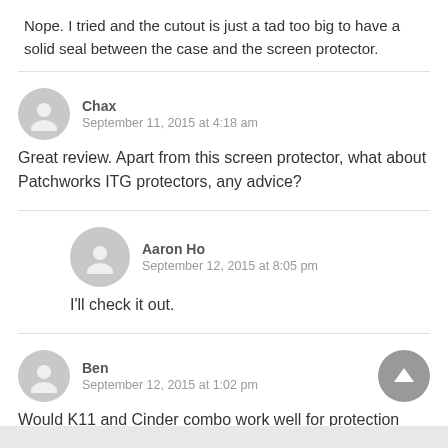Nope. I tried and the cutout is just a tad too big to have a solid seal between the case and the screen protector.
Chax
September 11, 2015 at 4:18 am
Great review. Apart from this screen protector, what about Patchworks ITG protectors, any advice?
Aaron Ho
September 12, 2015 at 8:05 pm
I'll check it out.
Ben
September 12, 2015 at 1:02 pm
Would K11 and Cinder combo work well for protection